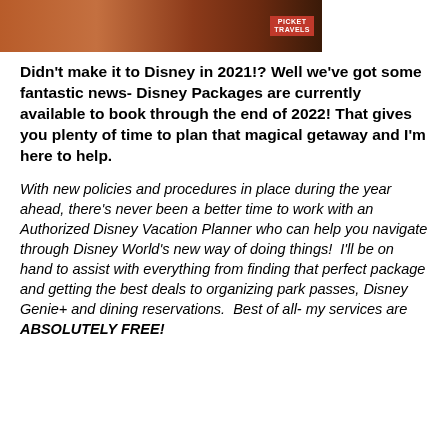[Figure (photo): Photo strip showing a Disney-themed scene with warm orange/red tones and a 'Picket Travels' label in the upper right corner]
Didn't make it to Disney in 2021!? Well we've got some fantastic news- Disney Packages are currently available to book through the end of 2022! That gives you plenty of time to plan that magical getaway and I'm here to help.
With new policies and procedures in place during the year ahead, there's never been a better time to work with an Authorized Disney Vacation Planner who can help you navigate through Disney World's new way of doing things!  I'll be on hand to assist with everything from finding that perfect package and getting the best deals to organizing park passes, Disney Genie+ and dining reservations.  Best of all- my services are ABSOLUTELY FREE!